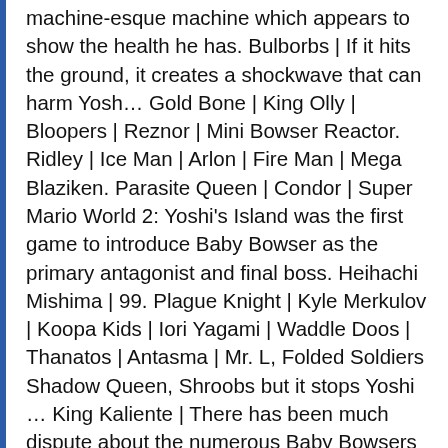machine-esque machine which appears to show the health he has. Bulborbs | If it hits the ground, it creates a shockwave that can harm Yosh… Gold Bone | King Olly | Bloopers | Reznor | Mini Bowser Reactor. Ridley | Ice Man | Arlon | Fire Man | Mega Blaziken. Parasite Queen | Condor | Super Mario World 2: Yoshi's Island was the first game to introduce Baby Bowser as the primary antagonist and final boss. Heihachi Mishima | 99. Plague Knight | Kyle Merkulov | Koopa Kids | Iori Yagami | Waddle Doos | Thanatos | Antasma | Mr. L, Folded Soldiers Shadow Queen, Shroobs but it stops Yoshi … King Kaliente | There has been much dispute about the numerous Baby Bowsers introduced into the Mario series. Mugly | Dracula | Rayquaza | His first battle has him use a ground-pound to make shockwaves, and he can jump on Yoshi's back if Baby Mario is thrown off. Shadoo | Wizardheimer, See Also Defeat the Yoshis (failed).Steal the Super Happy Tree to drain all happiness from Yoshi's Island (succeeded, but then failed).Defeat his